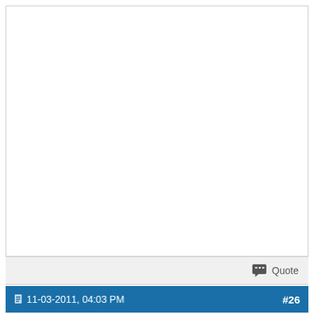[Figure (screenshot): Top white post area, blank content, with border]
Quote
11-03-2011, 04:03 PM   #26
MovingIn07
| Join Date: | Mar 2007 | Posts: | 17,934 |
| --- | --- | --- | --- |
No problem for HK:
Tsunami Information Bulletin
Tsunami Information Bulletin issued by the Hong Kong Observatory at 3:55 p.m. on 11 Mar 2011.
A severe earthquake of magnitude 8.4 occurred near east coast